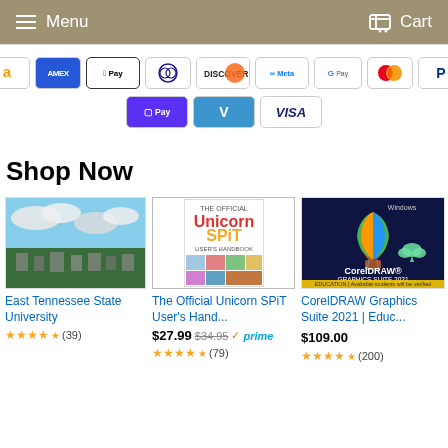Menu  Cart
[Figure (infographic): Payment method icons: Amazon, Amex, Apple Pay, Diners Club, Discover, Meta Pay, Google Pay, Mastercard, PayPal, Shop Pay, Venmo, Visa]
Shop Now
[Figure (photo): Aerial photo of East Tennessee State University campus]
East Tennessee State University
[Figure (photo): Book cover: The Official Unicorn SPiT User's Handbook]
The Official Unicorn SPiT User's Hand...
$27.99  $34.95  prime
[Figure (photo): CorelDRAW Graphics Suite 2021 Education software box art]
CorelDRAW Graphics Suite 2021 | Educ...
$109.00
(39)
(79)
(200)